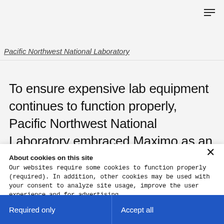Pacific Northwest National Laboratory
To ensure expensive lab equipment continues to function properly, Pacific Northwest National Laboratory embraced Maximo as an automated,
About cookies on this site
Our websites require some cookies to function properly (required). In addition, other cookies may be used with your consent to analyze site usage, improve the user experience and for advertising.

For more information, please review your Cookie preferences options and IBM's privacy statement.
Required only
Accept all